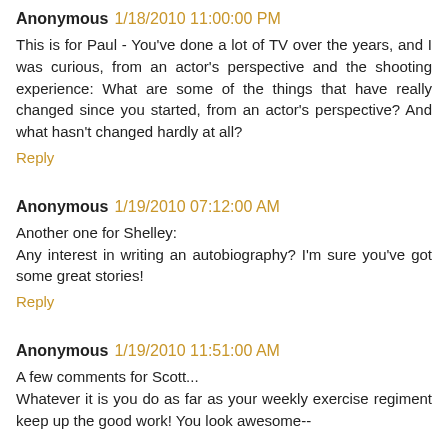Anonymous  1/18/2010 11:00:00 PM
This is for Paul - You've done a lot of TV over the years, and I was curious, from an actor's perspective and the shooting experience: What are some of the things that have really changed since you started, from an actor's perspective? And what hasn't changed hardly at all?
Reply
Anonymous  1/19/2010 07:12:00 AM
Another one for Shelley:
Any interest in writing an autobiography? I'm sure you've got some great stories!
Reply
Anonymous  1/19/2010 11:51:00 AM
A few comments for Scott...
Whatever it is you do as far as your weekly exercise regiment keep up the good work! You look awesome--